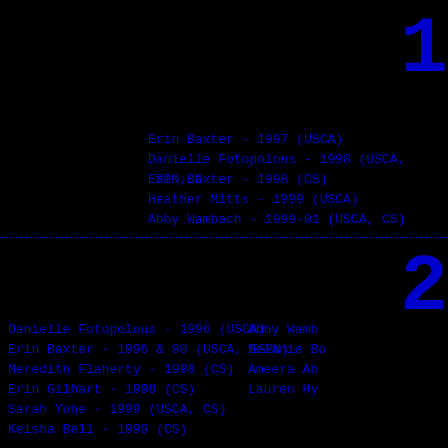1
Erin Baxter - 1997 (USCA)
Danielle Fotopolous - 1998 (USCA, ESPN, C
Erin Baxter - 1998 (CS)
Heather Mitts - 1999 (USCA)
Abby Wambach - 1999-01 (USCA, CS)
2
Danielle Fotopolous - 1996 (USCA)
Erin Baxter - 1996 & 98 (USCA, ESPN)
Meredith Flaherty - 1998 (CS)
Erin Gilhart - 1998 (CS)
Sarah Yohe - 1999 (USCA, CS)
Keisha Bell - 1999 (CS)
Abby Wamb
Melanie Bo
Ameera Ab
Lauren Hy